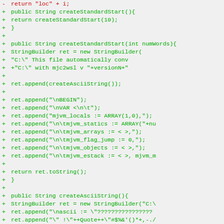[Figure (screenshot): Diff view of Java source code showing added (+) and removed (-) lines. Removed lines in red, added lines in green, on a light gray background. Code shows methods createStandardStart() and createAsciiString().]